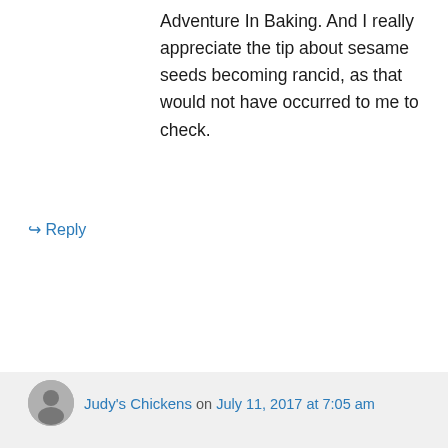Adventure In Baking. And I really appreciate the tip about sesame seeds becoming rancid, as that would not have occurred to me to check.
↪ Reply
Judy's Chickens on July 11, 2017 at 7:05 am
Quinn, you'll know, as soon as you open the container. Same for poppy seeds. They both have oil inside the seed. I think that's what goes bad. Let me know how you like these. My family has devoured every batch I have made in the last few months.
We have had a lot of rain this summer. And